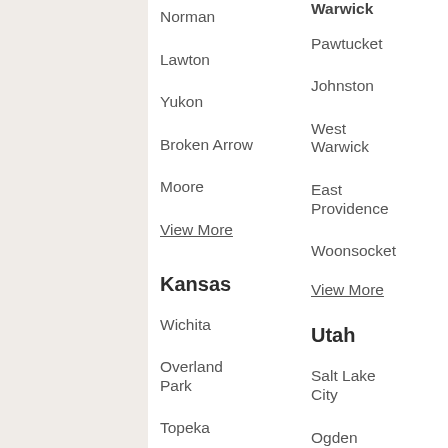Warwick (partial, cut off at top)
Norman
Pawtucket
Lawton
Johnston
Yukon
West Warwick
Broken Arrow
East Providence
Moore
Woonsocket
View More
View More
Kansas
Utah
Wichita
Salt Lake City
Overland Park
Ogden
Topeka
Layton